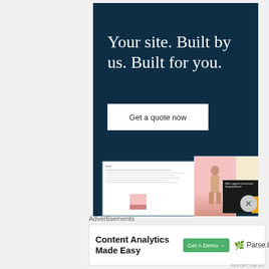[Figure (illustration): Dark teal advertisement banner for a website building service. Large serif white headline reads 'Your site. Built by us. Built for you.' with a white 'Get a quote now' button. Bottom portion shows a laptop mockup with website previews including a fashion photo card and black article card with yellow accent.]
Advertisements
[Figure (illustration): Bottom advertisement banner for Parse.ly — 'Content Analytics Made Easy' with a green 'Get A Demo →' button and Parse.ly logo with leaf icon.]